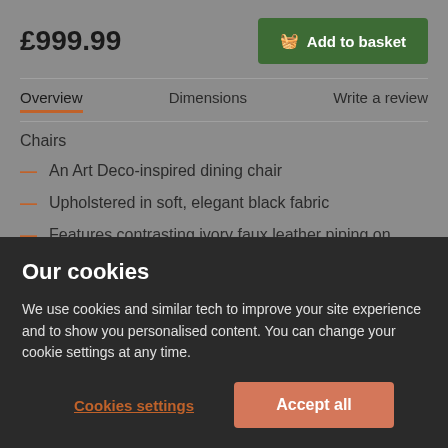£999.99
Add to basket
Overview   Dimensions   Write a review
Chairs
An Art Deco-inspired dining chair
Upholstered in soft, elegant black fabric
Features contrasting ivory faux leather piping on cushions and seats
Comfy, padded seat made with high quality, high
Our cookies
We use cookies and similar tech to improve your site experience and to show you personalised content. You can change your cookie settings at any time.
Cookies settings
Accept all